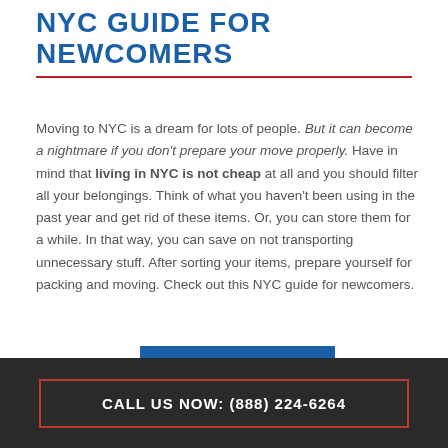NYC GUIDE FOR NEWCOMERS
Moving to NYC is a dream for lots of people. But it can become a nightmare if you don't prepare your move properly. Have in mind that living in NYC is not cheap at all and you should filter all your belongings. Think of what you haven't been using in the past year and get rid of these items. Or, you can store them for a while. In that way, you can save on not transporting unnecessary stuff. After sorting your items, prepare yourself for packing and moving. Check out this NYC guide for newcomers.
CALL US NOW: (888) 224-6264